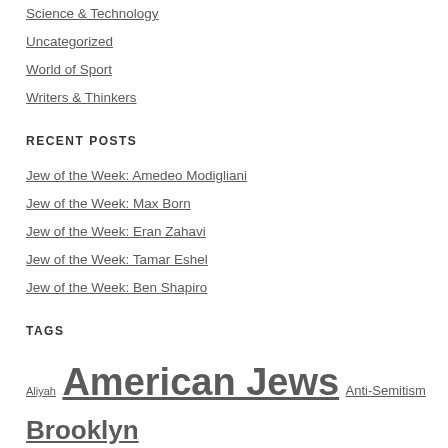Science & Technology
Uncategorized
World of Sport
Writers & Thinkers
RECENT POSTS
Jew of the Week: Amedeo Modigliani
Jew of the Week: Max Born
Jew of the Week: Eran Zahavi
Jew of the Week: Tamar Eshel
Jew of the Week: Ben Shapiro
TAGS
Aliyah American Jews Anti-Semitism Brooklyn Canadian Jews Chabad Charity Egypt English Jews